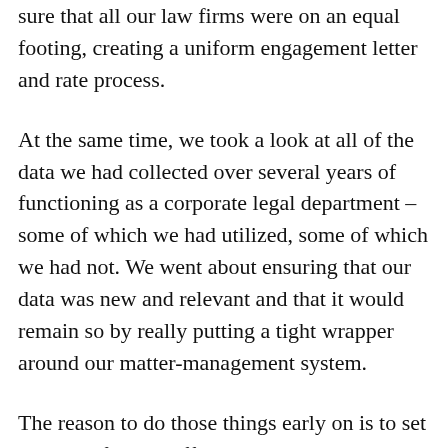sure that all our law firms were on an equal footing, creating a uniform engagement letter and rate process.
At the same time, we took a look at all of the data we had collected over several years of functioning as a corporate legal department – some of which we had utilized, some of which we had not. We went about ensuring that our data was new and relevant and that it would remain so by really putting a tight wrapper around our matter-management system.
The reason to do those things early on is to set the stage for the different initiatives that you'll roll out later. You want to have clean and usable data so that you can measure results to make sure that your operations function is performing the way it should